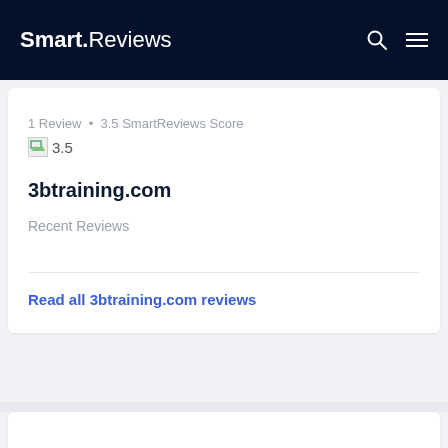Smart.Reviews
1 Review • 3.5 SmartReviews Score
3.5
3btraining.com
Recent Reviews
Read all 3btraining.com reviews